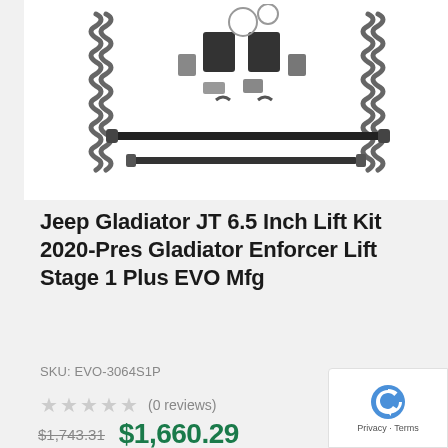[Figure (photo): Product photo of a Jeep lift kit showing coil springs, control arms, and various suspension components laid out on white background]
Jeep Gladiator JT 6.5 Inch Lift Kit 2020-Pres Gladiator Enforcer Lift Stage 1 Plus EVO Mfg
SKU: EVO-3064S1P
★★★★★ (0 reviews)
$1,743.31 $1,660.29